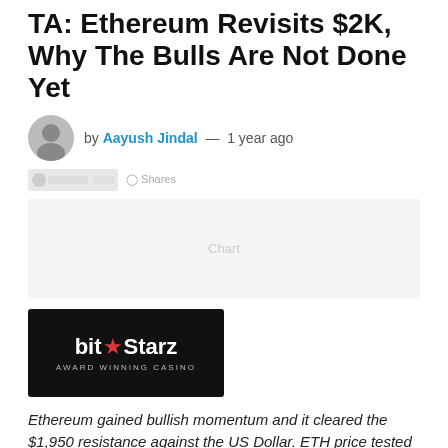TA: Ethereum Revisits $2K, Why The Bulls Are Not Done Yet
by Aayush Jindal — 1 year ago
[Figure (screenshot): Share/social buttons row with Facebook share and tweet button]
[Figure (screenshot): Ethereum price chart placeholder]
[Figure (logo): BitStarz Award Winning Casino advertisement logo on black background]
Ethereum gained bullish momentum and it cleared the $1,950 resistance against the US Dollar. ETH price tested $2,000 and it is likely to continue higher.
Ethereum is extending gains and it recently tested